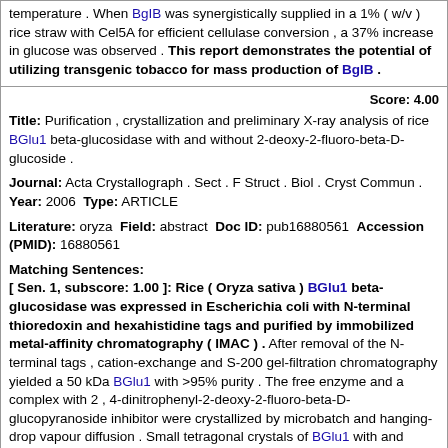temperature . When BgIB was synergistically supplied in a 1% ( w/v ) rice straw with Cel5A for efficient cellulase conversion , a 37% increase in glucose was observed . This report demonstrates the potential of utilizing transgenic tobacco for mass production of BgIB .
Score: 4.00
Title: Purification , crystallization and preliminary X-ray analysis of rice BGlu1 beta-glucosidase with and without 2-deoxy-2-fluoro-beta-D-glucoside .
Journal: Acta Crystallograph . Sect . F Struct . Biol . Cryst Commun . Year: 2006 Type: ARTICLE
Literature: oryza Field: abstract Doc ID: pub16880561 Accession (PMID): 16880561
Matching Sentences: [ Sen. 1, subscore: 1.00 ]: Rice ( Oryza sativa ) BGlu1 beta-glucosidase was expressed in Escherichia coli with N-terminal thioredoxin and hexahistidine tags and purified by immobilized metal-affinity chromatography ( IMAC ) . After removal of the N-terminal tags , cation-exchange and S-200 gel-filtration chromatography yielded a 50 kDa BGlu1 with >95% purity . The free enzyme and a complex with 2 , 4-dinitrophenyl-2-deoxy-2-fluoro-beta-D-glucopyranoside inhibitor were crystallized by microbatch and hanging-drop vapour diffusion . Small tetragonal crystals of BGlu1 with and without inhibitor grew in 18% ( w/v ) PEG 8000 with 0 . 1 M sodium cacodylate pH 6 . 5 and 0 . 2 M zinc acetate . Crystals of BGlu1 with inhibitor were streak-seeded into 23% ( w/v ) PEG MME 5000 , 0 . 2 M ammonium sulfate , 0 . 1 M MES pH 6 . 7 to yield larger crystals . Crystals with and without inhibitor diffracted to 2 . 15 and 2 . 75 angstroms resolution , respectively , and had isomorphous orthorhombic